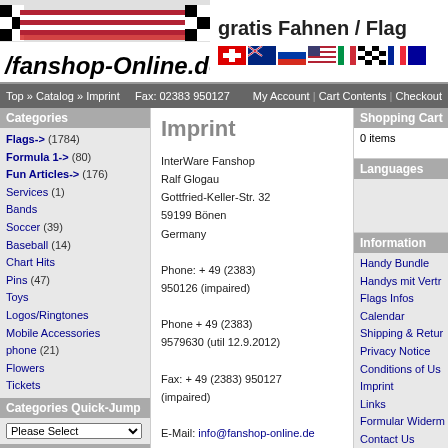[Figure (logo): Fanshop-Online.de logo with racing flags and the text 'Fanshop-Online.de' in italic style]
gratis Fahnen / Flag
[Figure (illustration): Row of country/flag icons: Switzerland, Australia, Russia, USA, Italy, Racing checkered, France, and more]
Top » Catalog » Imprint    Fax: 02383 950127    My Account  |  Cart Contents  |  Checkout
Categories
Flags-> (1784)
Formula 1-> (80)
Fun Articles-> (176)
Services (1)
Bands
Soccer (39)
Baseball (14)
Chart Hits
Pins (47)
Toys
Logos/Ringtones
Mobile Accessories
phone (21)
Flowers
Tickets
Categories Quick-Jump
Please Select
What's New?
Imprint
InterWare Fanshop
Ralf Glogau
Gottfried-Keller-Str. 32
59199 Bönen
Germany
Phone: + 49 (2383) 950126 (impaired)
Phone + 49 (2383) 9579630 (util 12.9.2012)
Fax: + 49 (2383) 950127 (impaired)
E-Mail: info@fanshop-online.de
VAT ID: DE 125255487
Shopping Cart
0 items
Languages
Information
Handy Bundle
Handys mit Vertr
Flags Infos
Calendar
Shipping & Retur
Privacy Notice
Conditions of Us
Imprint
Links
Formular Widerm
Contact Us
Specials